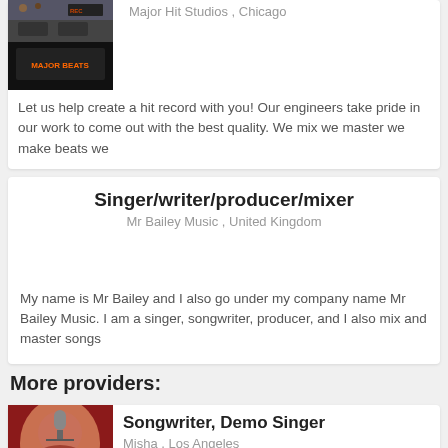[Figure (photo): Photo of a music recording studio setup with dark equipment and a screen showing a logo]
Major Hit Studios , Chicago
Let us help create a hit record with you! Our engineers take pride in our work to come out with the best quality. We mix we master we make beats we
Singer/writer/producer/mixer
Mr Bailey Music , United Kingdom
My name is Mr Bailey and I also go under my company name Mr Bailey Music. I am a singer, songwriter, producer, and I also mix and master songs
More providers:
[Figure (photo): Photo of a woman with a microphone, appears to be a singer]
Songwriter, Demo Singer
Misha , Los Angeles